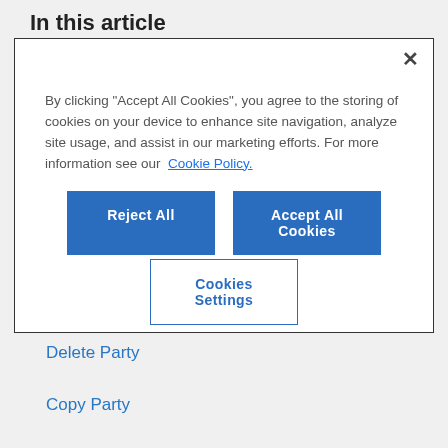In this article
[Figure (screenshot): Cookie consent modal dialog with close button (×), text explaining cookie usage, links to Cookie Policy, two blue buttons ('Reject All' and 'Accept All Cookies'), and an outlined 'Cookies Settings' button.]
Add Party
Delete Party
Copy Party